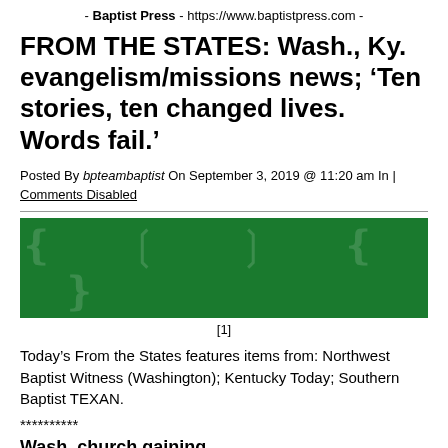- Baptist Press - https://www.baptistpress.com -
FROM THE STATES: Wash., Ky. evangelism/missions news; ‘Ten stories, ten changed lives. Words fail.’
Posted By bpteambaptist On September 3, 2019 @ 11:20 am In | Comments Disabled
[Figure (photo): Green banner image with faint decorative marks]
[1]
Today’s From the States features items from: Northwest Baptist Witness (Washington); Kentucky Today; Southern Baptist TEXAN.
**********
Wash. church gaining